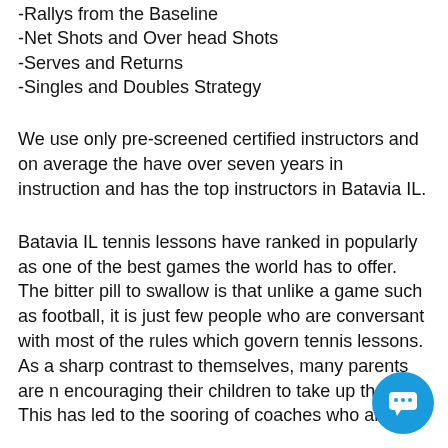-Rallys from the Baseline
-Net Shots and Over head Shots
-Serves and Returns
-Singles and Doubles Strategy
We use only pre-screened certified instructors and on average the have over seven years in instruction and has the top instructors in Batavia IL.
Batavia IL tennis lessons have ranked in popularly as one of the best games the world has to offer. The bitter pill to swallow is that unlike a game such as football, it is just few people who are conversant with most of the rules which govern tennis lessons. As a sharp contrast to themselves, many parents are now encouraging their children to take up the game. This has led to the soaring of coaches who are